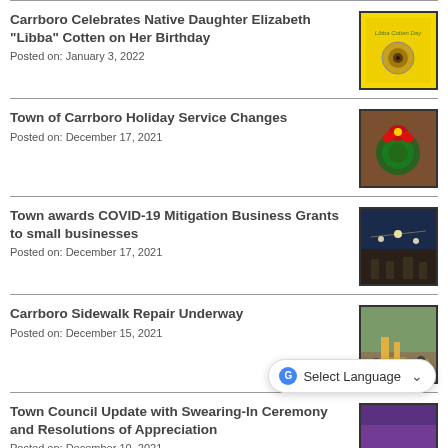Carrboro Celebrates Native Daughter Elizabeth “Libba” Cotten on Her Birthday
Posted on: January 3, 2022
[Figure (photo): Yellow record cover with text and a circular portrait photo]
Town of Carrboro Holiday Service Changes
Posted on: December 17, 2021
[Figure (photo): Holiday wreath with large red bow]
Town awards COVID-19 Mitigation Business Grants to small businesses
Posted on: December 17, 2021
[Figure (photo): Nighttime outdoor event with string lights and crowd]
Carrboro Sidewalk Repair Underway
Posted on: December 15, 2021
[Figure (photo): Workers repairing sidewalk outdoors]
Town Council Update with Swearing-In Ceremony and Resolutions of Appreciation
Posted on: December 10, 2021
[Figure (photo): Purple-toned image partially obscured by Select Language overlay]